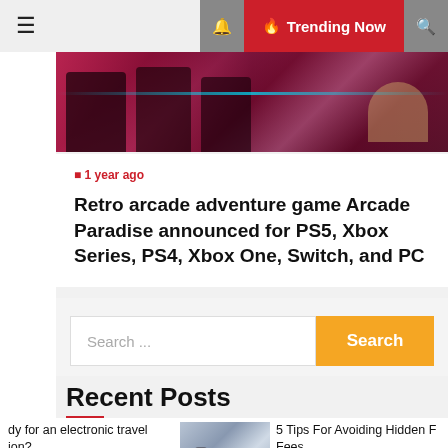☰  🔔 Trending Now 🔍
[Figure (photo): Retro arcade machines with pink/red neon lighting]
🕐 1 year ago
Retro arcade adventure game Arcade Paradise announced for PS5, Xbox Series, PS4, Xbox One, Switch, and PC
Search ...
Recent Posts
dy for an electronic travel ion?
[Figure (photo): People at an airport terminal]
5 Tips For Avoiding Hidden F Fees